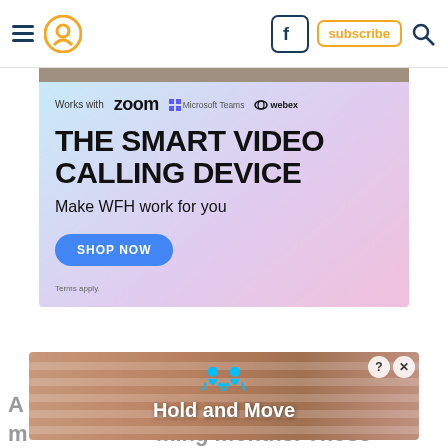Navigation header with hamburger menu, location icon, Facebook icon, subscribe button, search icon
[Figure (screenshot): Advertisement for a smart video calling device. Shows logos for Zoom, Microsoft Teams, and Webex. Headline: THE SMART VIDEO CALLING DEVICE. Subheadline: Make WFH work for you. Blue SHOP NOW button. Terms apply.]
POWERED BY CONCERT    FEEDBACK
A full [ad overlay] yet been m[ad overlay]ming months. Those performers already confirmed (and tickets are on sale) include Darci Lynne &
[Figure (screenshot): Banner ad overlay showing 'Hold and Move' text with animated character icons on a wooden texture background. Has close (X) and info (?) buttons.]